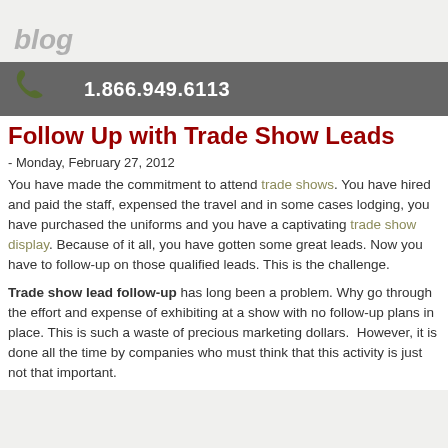blog
1.866.949.6113
Follow Up with Trade Show Leads
- Monday, February 27, 2012
You have made the commitment to attend trade shows. You have hired and paid the staff, expensed the travel and in some cases lodging, you have purchased the uniforms and you have a captivating trade show display. Because of it all, you have gotten some great leads. Now you have to follow-up on those qualified leads. This is the challenge.
Trade show lead follow-up has long been a problem. Why go through the effort and expense of exhibiting at a show with no follow-up plans in place. This is such a waste of precious marketing dollars.  However, it is done all the time by companies who must think that this activity is just not that important.